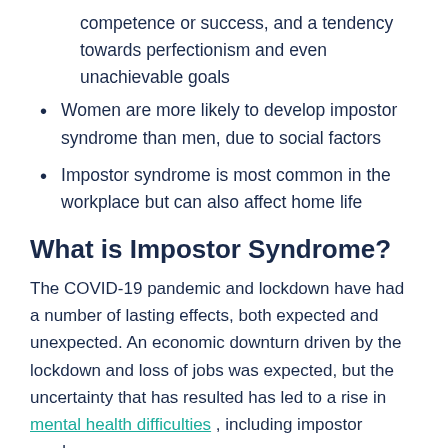competence or success, and a tendency towards perfectionism and even unachievable goals
Women are more likely to develop impostor syndrome than men, due to social factors
Impostor syndrome is most common in the workplace but can also affect home life
What is Impostor Syndrome?
The COVID-19 pandemic and lockdown have had a number of lasting effects, both expected and unexpected. An economic downturn driven by the lockdown and loss of jobs was expected, but the uncertainty that has resulted has led to a rise in mental health difficulties , including impostor syndrome.
Although feelings of unworthiness are fairly common across society, impostor syndrome is especially